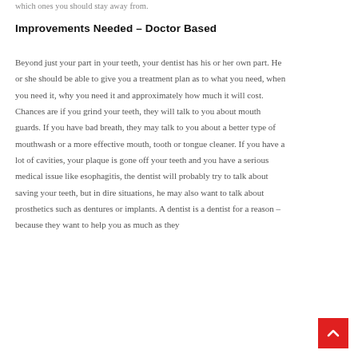which ones you should stay away from.
Improvements Needed – Doctor Based
Beyond just your part in your teeth, your dentist has his or her own part. He or she should be able to give you a treatment plan as to what you need, when you need it, why you need it and approximately how much it will cost. Chances are if you grind your teeth, they will talk to you about mouth guards. If you have bad breath, they may talk to you about a better type of mouthwash or a more effective mouth, tooth or tongue cleaner. If you have a lot of cavities, your plaque is gone off your teeth and you have a serious medical issue like esophagitis, the dentist will probably try to talk about saving your teeth, but in dire situations, he may also want to talk about prosthetics such as dentures or implants. A dentist is a dentist for a reason – because they want to help you as much as they